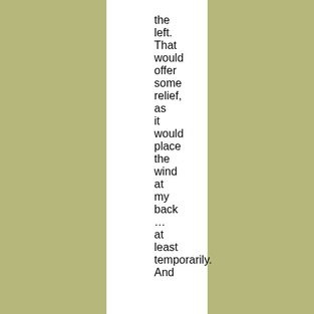the left. That would offer some relief, as it would place the wind at my back … at least temporarily. And